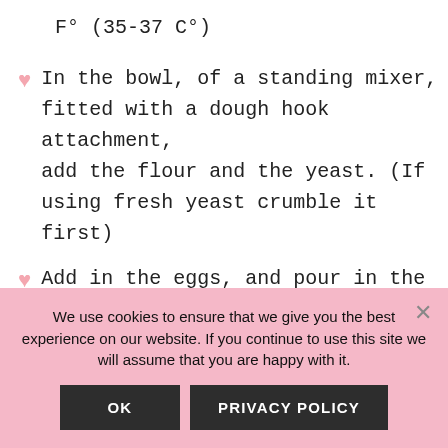F° (35-37 C°)
In the bowl, of a standing mixer, fitted with a dough hook attachment, add the flour and the yeast. (If using fresh yeast crumble it first)
Add in the eggs, and pour in the milk-sugar mixture make sure it is 96-98 F°(35-37 C°)
Mix on low speed until all of the ingredients have come together.
We use cookies to ensure that we give you the best experience on our website. If you continue to use this site we will assume that you are happy with it.
OK
PRIVACY POLICY